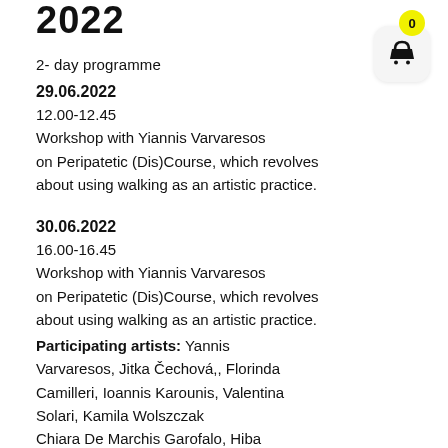2022
[Figure (illustration): Shopping cart icon with yellow badge showing '0' count, inside a rounded rectangle box]
2- day programme
29.06.2022
12.00-12.45
Workshop with Yiannis Varvaresos on Peripatetic (Dis)Course, which revolves about using walking as an artistic practice.
30.06.2022
16.00-16.45
Workshop with Yiannis Varvaresos on Peripatetic (Dis)Course, which revolves about using walking as an artistic practice.
Participating artists: Yannis Varvaresos, Jitka Čechová,, Florinda Camilleri, Ioannis Karounis, Valentina Solari, Kamila Wolszczak Chiara De Marchis Garofalo, Hiba Masad, Laura A. Jakschas